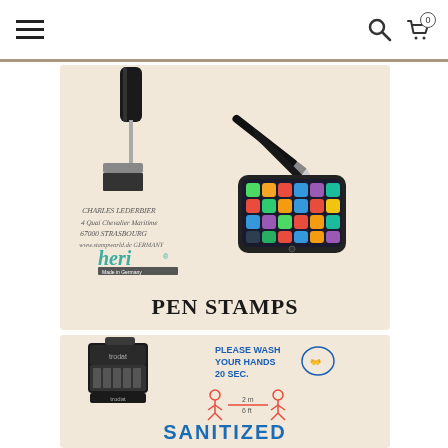Navigation bar with hamburger menu, search icon, and cart (0 items)
[Figure (photo): Product card with beige background showing a hand holding a roller stamp, a pen stylus, an iPhone, and heri brand logo with italic script address text. Text at bottom reads PEN STAMPS.]
PEN STAMPS
[Figure (photo): Product card with beige background showing a Trodat self-inking stamp on the left, a blue stamp impression reading PLEASE WASH YOUR HANDS 20 SEC. with hand-washing icon, a social distancing icon showing 2m/6ft spacing, and blue text at bottom reading SANITIZED.]
SANITIZED